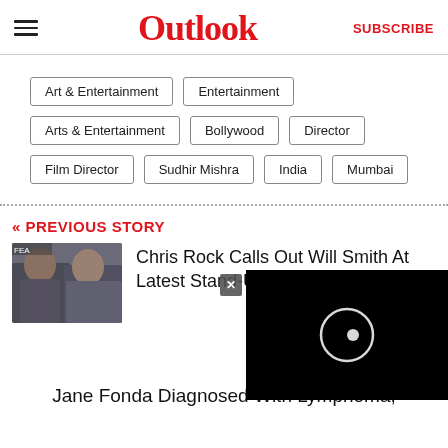Outlook | SUBSCRIBE
Art & Entertainment
Entertainment
Arts & Entertainment
Bollywood
Director
Film Director
Sudhir Mishra
India
Mumbai
« PREVIOUS STORY
[Figure (photo): Two men posing at an event, associated with Chris Rock and Will Smith story]
Chris Rock Calls Out Will Smith At Latest Stand-Up Gig
Jane Fonda Diagnosed With Lymphoma,
[Figure (screenshot): Black video player overlay with circular loading icon and close button]